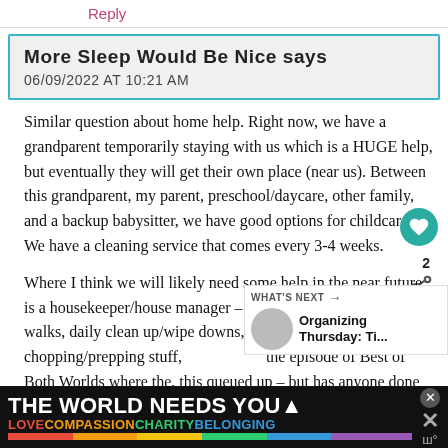Reply
More Sleep Would Be Nice says
06/09/2022 AT 10:21 AM
Similar question about home help. Right now, we have a grandparent temporarily staying with us which is a HUGE help, but eventually they will get their own place (near us). Between this grandparent, my parent, preschool/daycare, other family, and a backup babysitter, we have good options for childcare. We have a cleaning service that comes every 3-4 weeks.
Where I think we will likely need some help in the near future is a housekeeper/house manager – someone to handle our dog walks, daily clean up/wipe downs, not cooking but maybe chopping/prepping stuff, the episode of Best of Both Worlds where the, this queued up – but has anyone done something like
[Figure (infographic): WHAT'S NEXT arrow label with thumbnail and text: Organizing Thursday: Ti...]
THE WORLD NEEDS YOU
LOVE COMPASSION CHARITY BELONGING